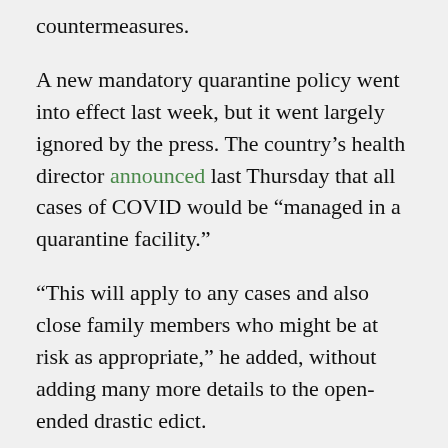countermeasures.
A new mandatory quarantine policy went into effect last week, but it went largely ignored by the press. The country’s health director announced last Thursday that all cases of COVID would be “managed in a quarantine facility.”
“This will apply to any cases and also close family members who might be at risk as appropriate,” he added, without adding many more details to the open-ended drastic edict.
Initially, the quarantine policy only applied to new arrivals coming into the country. It